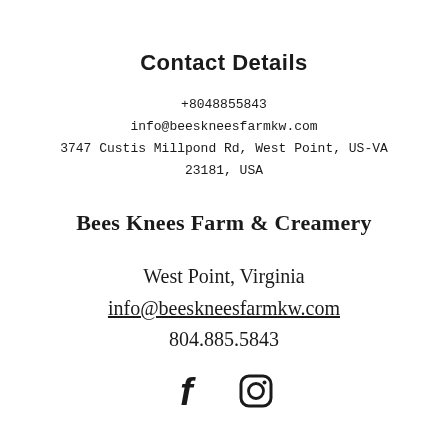Contact Details
+8048855843
info@beeskneesfarmkw.com
3747 Custis Millpond Rd, West Point, US-VA
23181, USA
Bees Knees Farm & Creamery
West Point, Virginia
info@beeskneesfarmkw.com
804.885.5843
[Figure (illustration): Facebook and Instagram social media icons]